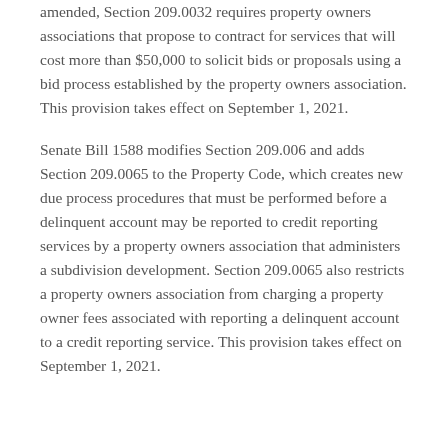amended, Section 209.0032 requires property owners associations that propose to contract for services that will cost more than $50,000 to solicit bids or proposals using a bid process established by the property owners association. This provision takes effect on September 1, 2021.
Senate Bill 1588 modifies Section 209.006 and adds Section 209.0065 to the Property Code, which creates new due process procedures that must be performed before a delinquent account may be reported to credit reporting services by a property owners association that administers a subdivision development. Section 209.0065 also restricts a property owners association from charging a property owner fees associated with reporting a delinquent account to a credit reporting service. This provision takes effect on September 1, 2021.